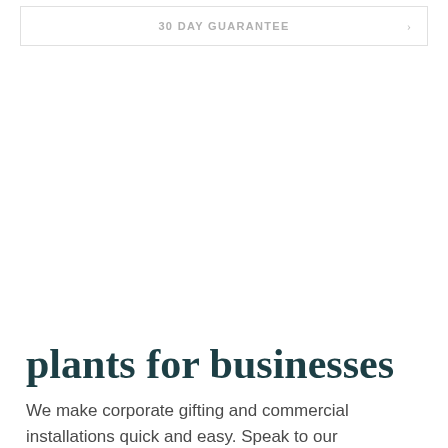30 DAY GUARANTEE
plants for businesses
We make corporate gifting and commercial installations quick and easy. Speak to our